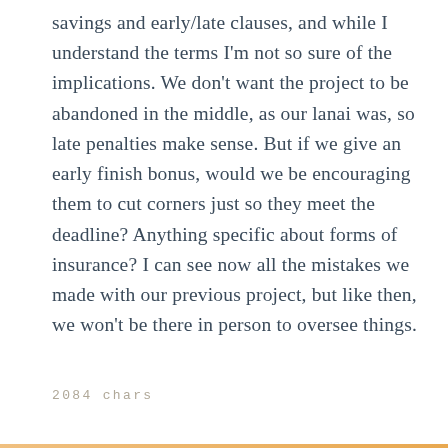savings and early/late clauses, and while I understand the terms I'm not so sure of the implications. We don't want the project to be abandoned in the middle, as our lanai was, so late penalties make sense. But if we give an early finish bonus, would we be encouraging them to cut corners just so they meet the deadline? Anything specific about forms of insurance? I can see now all the mistakes we made with our previous project, but like then, we won't be there in person to oversee things.
2084 chars